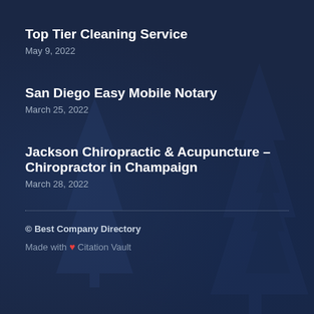Top Tier Cleaning Service
May 9, 2022
San Diego Easy Mobile Notary
March 25, 2022
Jackson Chiropractic & Acupuncture – Chiropractor in Champaign
March 28, 2022
© Best Company Directory
Made with ❤ Citation Vault